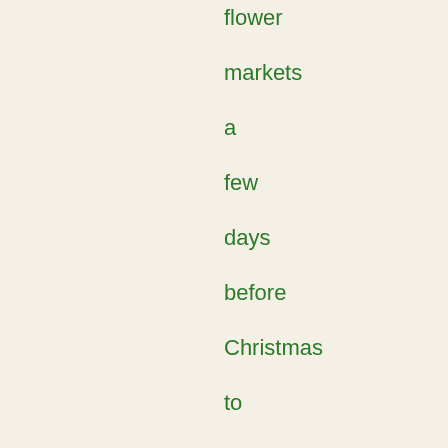flower markets a few days before Christmas to obtain a Christmas tree as well as mistletoe, branches of fir and